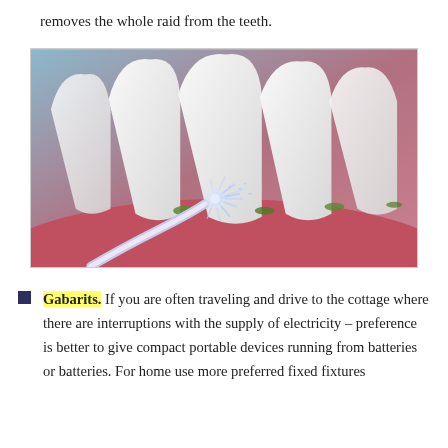removes the whole raid from the teeth.
[Figure (illustration): Medical illustration showing a dental cleaning tool (water flosser/irrigator tip) spraying water at the gumline between teeth, with green plaque/tartar visible at the base of white teeth against pink gum tissue.]
Gabarits. If you are often traveling and drive to the cottage where there are interruptions with the supply of electricity – preference is better to give compact portable devices running from batteries or batteries. For home use more preferred fixed fixtures